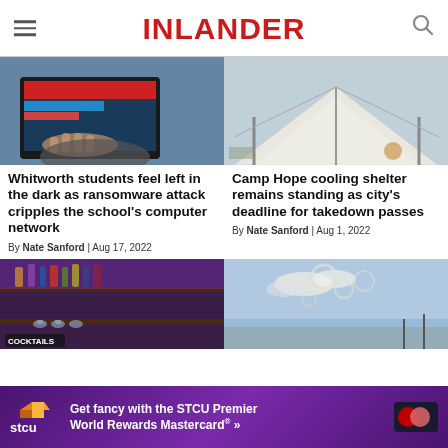INLANDER
[Figure (photo): Person typing on a laptop with code/red banners on screen]
[Figure (photo): White tent/tarp shelter structure at Camp Hope]
Whitworth students feel left in the dark as ransomware attack cripples the school's computer network
Camp Hope cooling shelter remains standing as city's deadline for takedown passes
By Nate Sanford | Aug 17, 2022
By Nate Sanford | Aug 1, 2022
[Figure (photo): Bar with shelves of bottles lit in purple light]
[Figure (photo): Cloudy blue sky with smoke rings or circular cloud formations]
[Figure (other): STCU Premier World Rewards Mastercard advertisement banner]